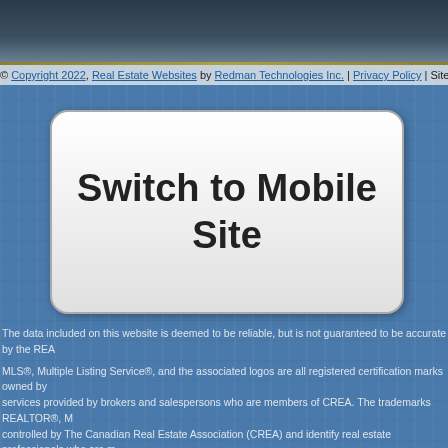© Copyright 2022, Real Estate Websites by Redman Technologies Inc. | Privacy Policy | Site...
Switch to Mobile Site
The data included on this website is deemed to be reliable, but is not guaranteed to be accurate by the REA...
MLS®, Multiple Listing Service®, and the associated logos are all registered certification marks owned by services provided by brokers and salespersons who are members of CREA. The trademarks REALTOR®, ... controlled by The Canadian Real Estate Association (CREA) and identify real estate professionals who are m...